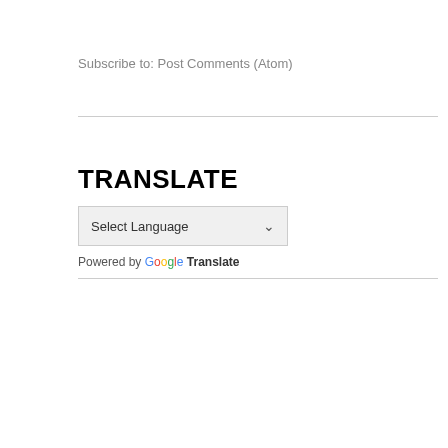Subscribe to: Post Comments (Atom)
TRANSLATE
[Figure (screenshot): A Google Translate widget showing a 'Select Language' dropdown with a chevron arrow, and 'Powered by Google Translate' text below it.]
Powered by Google Translate